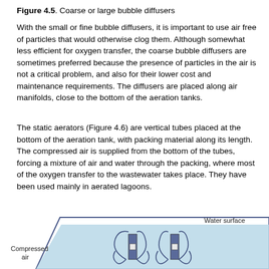Figure 4.5. Coarse or large bubble diffusers
With the small or fine bubble diffusers, it is important to use air free of particles that would otherwise clog them. Although somewhat less efficient for oxygen transfer, the coarse bubble diffusers are sometimes preferred because the presence of particles in the air is not a critical problem, and also for their lower cost and maintenance requirements. The diffusers are placed along air manifolds, close to the bottom of the aeration tanks.
The static aerators (Figure 4.6) are vertical tubes placed at the bottom of the aeration tank, with packing material along its length. The compressed air is supplied from the bottom of the tubes, forcing a mixture of air and water through the packing, where most of the oxygen transfer to the wastewater takes place. They have been used mainly in aerated lagoons.
[Figure (engineering-diagram): Diagram of coarse or large bubble diffusers in an aeration tank. Shows a trapezoidal tank cross-section with a light blue water body. Two vertical diffuser tubes with bubble plumes are shown inside the water, with circulation patterns illustrated by curved arrows. Labels indicate 'Water surface' at the top right and 'Compressed air' at the lower left.]